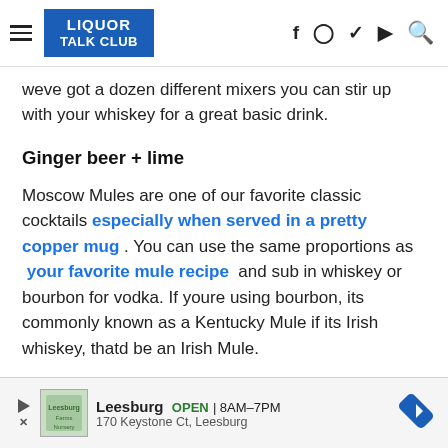LIQUOR TALK CLUB
weve got a dozen different mixers you can stir up with your whiskey for a great basic drink.
Ginger beer + lime
Moscow Mules are one of our favorite classic cocktails especially when served in a pretty copper mug . You can use the same proportions as your favorite mule recipe and sub in whiskey or bourbon for vodka. If youre using bourbon, its commonly known as a Kentucky Mule if its Irish whiskey, thatd be an Irish Mule.
You May Like: Member's Mark Vodka Vs Kirkland Vodka
[Figure (other): Advertisement banner for Leesburg business, OPEN 8AM-7PM, 170 Keystone Ct, Leesburg]